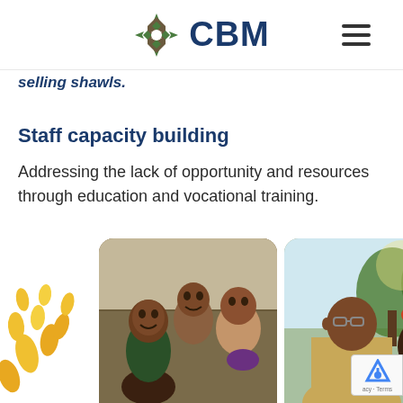CBM
selling shawls.
Staff capacity building
Addressing the lack of opportunity and resources through education and vocational training.
[Figure (photo): Two photo thumbnails side by side: left shows a group of smiling African children, right shows an elderly African man wearing glasses with a woman behind him, with trees in background. Yellow decorative leaf/flame shapes on the left side.]